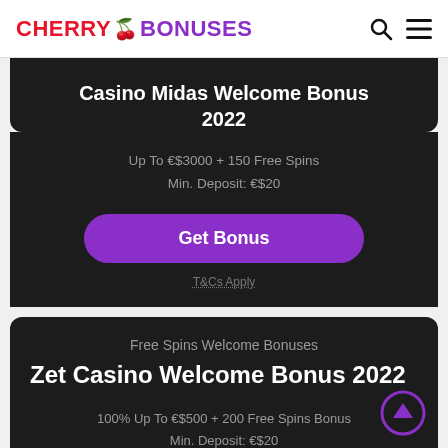CHERRY BONUSES
Casino Midas Welcome Bonus 2022
Up To €$3000 + 150 Free Spins
Min. Deposit: €$20
Get Bonus
T&Cs Apply
Free Spins Welcome Bonuses
Zet Casino Welcome Bonus 2022
100% Up To €$500 + 200 Free Spins Bonus
Min. Deposit: €$20